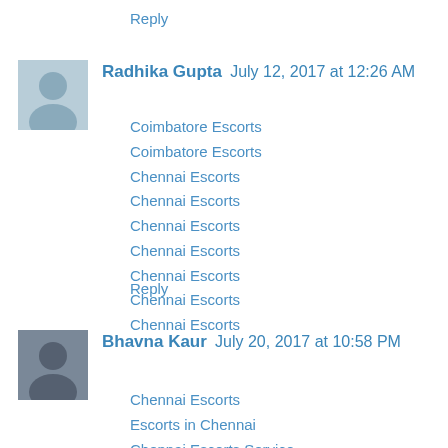Reply
Radhika Gupta  July 12, 2017 at 12:26 AM
Coimbatore Escorts
Coimbatore Escorts
Chennai Escorts
Chennai Escorts
Chennai Escorts
Chennai Escorts
Chennai Escorts
Chennai Escorts
Chennai Escorts
Reply
Bhavna Kaur  July 20, 2017 at 10:58 PM
Chennai Escorts
Escorts in Chennai
Chennai Escorts Service
Chennai Escorts Agency